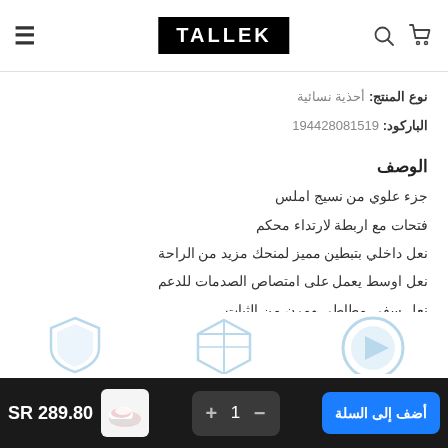TALLEK (logo with cart and search icons, hamburger menu)
نوع المنتج: أحذية نسائية
الباركود: 194428081519
الوصف
جزء علوي من نسيج املس
فتحات مع اربطة لارتداء محكم
نعل داخلي بتبطين مميز لمنحك مزيد من الراحة
نعل اوسط يعمل على امتصاص الصدمات للدعم
نعل سفي مطاطي ومرن من الثبات
مزين بشعار سكيتشرز
[Figure (illustration): Three partially visible icons at the bottom of the page: a play/delivery icon, a box/package icon, and a shield/guarantee icon]
أضف إلى السلة  −  1  +  SR 289.80  [product thumbnail]